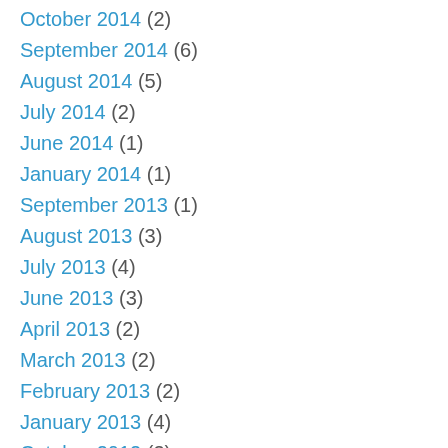October 2014 (2)
September 2014 (6)
August 2014 (5)
July 2014 (2)
June 2014 (1)
January 2014 (1)
September 2013 (1)
August 2013 (3)
July 2013 (4)
June 2013 (3)
April 2013 (2)
March 2013 (2)
February 2013 (2)
January 2013 (4)
October 2012 (3)